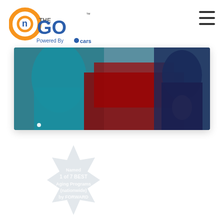[Figure (logo): On The Go logo powered by Cars.com — orange/blue circular letter logo with 'On The GO' text and 'Powered By Cars' tagline]
[Figure (other): Hamburger menu icon (three horizontal lines) in top right corner]
[Figure (photo): Photo banner showing two people standing near a red car — one person in teal/blue outfit on left, one in navy floral dress on right]
[Figure (other): Star/badge shape with white text reading: Named 1 of 7 BEST Aging Programs (nationwide) by FORWARD]